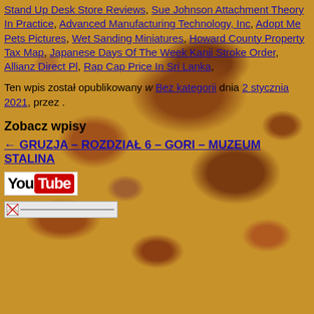Stand Up Desk Store Reviews, Sue Johnson Attachment Theory In Practice, Advanced Manufacturing Technology, Inc, Adopt Me Pets Pictures, Wet Sanding Miniatures, Howard County Property Tax Map, Japanese Days Of The Week Kanji Stroke Order, Allianz Direct Pl, Rap Cap Price In Sri Lanka,
Ten wpis został opublikowany w Bez kategorii dnia 2 stycznia 2021, przez .
Zobacz wpisy
← GRUZJA – ROZDZIAŁ 6 – GORI – MUZEUM STALINA
[Figure (logo): YouTube logo: black 'You' text followed by red rectangle with white 'Tube' text]
[Figure (photo): Small broken image placeholder icon followed by a horizontal line/bar]